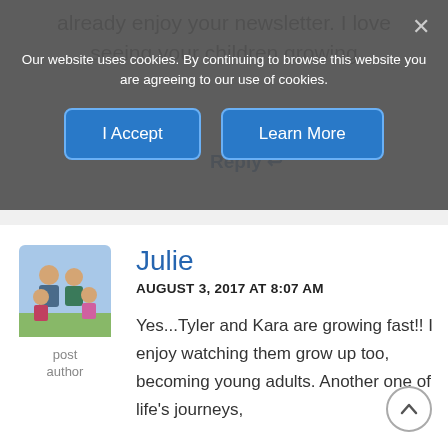already enjoy your newsletter. I love seeing your children growing
Reply ↩
Our website uses cookies. By continuing to browse this website you are agreeing to our use of cookies.
I Accept
Learn More
[Figure (photo): Family photo showing a man, woman, and two girls outdoors]
post author
Julie
AUGUST 3, 2017 AT 8:07 AM
Yes...Tyler and Kara are growing fast!! I enjoy watching them grow up too, becoming young adults. Another one of life's journeys,